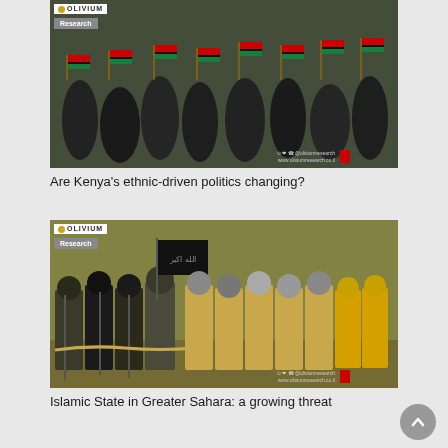[Figure (photo): People holding Kenyan flags with Olivium Research watermark and Research badge overlay]
Are Kenya's ethnic-driven politics changing?
[Figure (photo): Armed militants in military uniforms holding weapons and a black flag, with Olivium Research watermark and Research badge overlay]
Islamic State in Greater Sahara: a growing threat